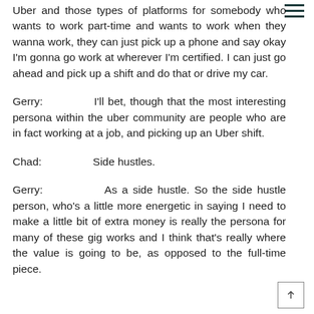Uber and those types of platforms for somebody who wants to work part-time and wants to work when they wanna work, they can just pick up a phone and say okay I'm gonna go work at wherever I'm certified. I can just go ahead and pick up a shift and do that or drive my car.
Gerry:   I'll bet, though that the most interesting persona within the uber community are people who are in fact working at a job, and picking up an Uber shift.
Chad:   Side hustles.
Gerry:   As a side hustle. So the side hustle person, who's a little more energetic in saying I need to make a little bit of extra money is really the persona for many of these gig works and I think that's really where the value is going to be, as opposed to the full-time piece.